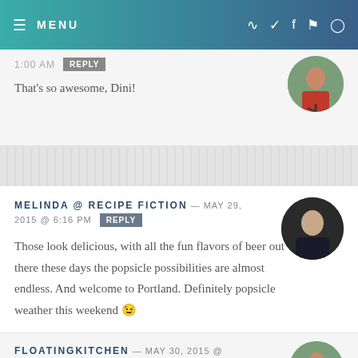MENU (navigation bar with social icons)
1:00 AM  REPLY
That's so awesome, Dini!
MELINDA @ RECIPE FICTION — MAY 29, 2015 @ 6:16 PM  REPLY
Those look delicious, with all the fun flavors of beer out there these days the popsicle possibilities are almost endless. And welcome to Portland. Definitely popsicle weather this weekend 😉
FLOATINGKITCHEN — MAY 30, 2015 @